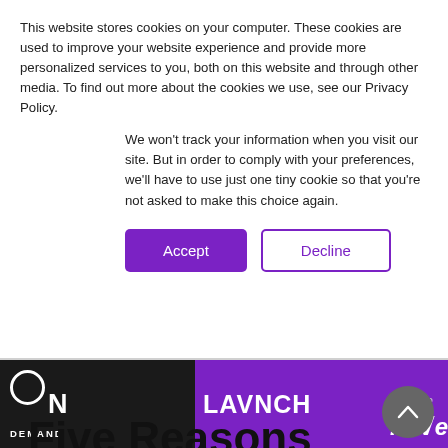This website stores cookies on your computer. These cookies are used to improve your website experience and provide more personalized services to you, both on this website and through other media. To find out more about the cookies we use, see our Privacy Policy.
We won't track your information when you visit our site. But in order to comply with your preferences, we'll have to use just one tiny cookie so that you're not asked to make this choice again.
[Figure (screenshot): Cookie consent buttons: Accept (purple filled) and Decline (purple outlined)]
[Figure (logo): ON DEMAND LAVNCH banner with rAVe logo on purple background]
Five Reasons Why